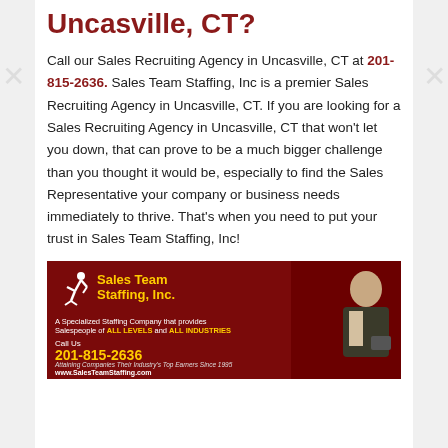Uncasville, CT?
Call our Sales Recruiting Agency in Uncasville, CT at 201-815-2636. Sales Team Staffing, Inc is a premier Sales Recruiting Agency in Uncasville, CT. If you are looking for a Sales Recruiting Agency in Uncasville, CT that won't let you down, that can prove to be a much bigger challenge than you thought it would be, especially to find the Sales Representative your company or business needs immediately to thrive. That's when you need to put your trust in Sales Team Staffing, Inc!
[Figure (illustration): Sales Team Staffing, Inc advertisement banner with logo, runner icon, phone number 201-815-2636, and a photo of a businessman]